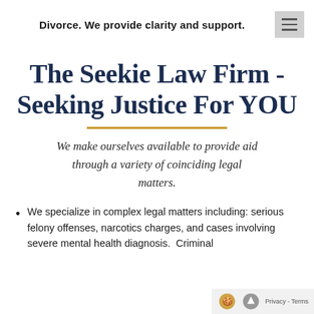Divorce. We provide clarity and support.
The Seekie Law Firm - Seeking Justice For YOU
We make ourselves available to provide aid through a variety of coinciding legal matters.
We specialize in complex legal matters including: serious felony offenses, narcotics charges, and cases involving severe mental health diagnosis.  Criminal